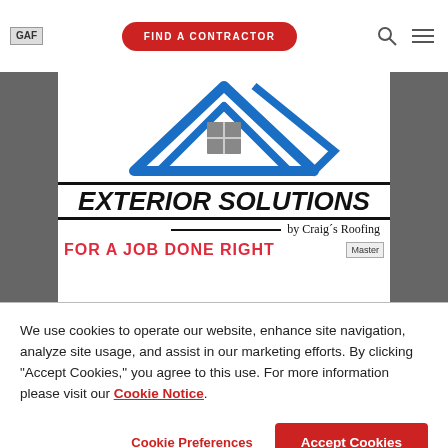[Figure (logo): GAF logo text in top-left navigation bar]
[Figure (screenshot): Navigation bar with FIND A CONTRACTOR red pill button, search icon, and hamburger menu icon]
[Figure (logo): Exterior Solutions by Craig's Roofing contractor logo with house graphic, tagline FOR A JOB DONE RIGHT, and Master Elite badge]
We use cookies to operate our website, enhance site navigation, analyze site usage, and assist in our marketing efforts. By clicking "Accept Cookies," you agree to this use. For more information please visit our Cookie Notice.
Cookie Preferences
Accept Cookies